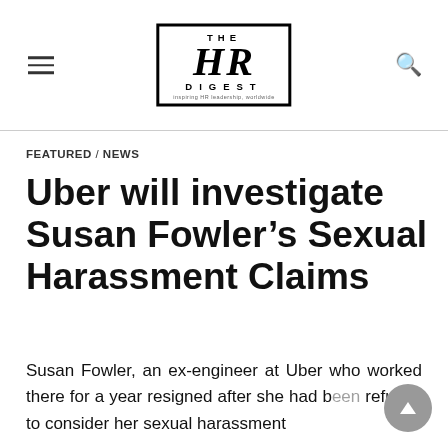THE HR DIGEST
FEATURED / NEWS
Uber will investigate Susan Fowler’s Sexual Harassment Claims
Susan Fowler, an ex-engineer at Uber who worked there for a year resigned after she had been refused to consider her sexual harassment